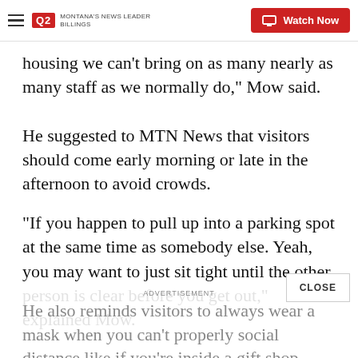Q2 Montana's News Leader | Watch Now
housing we can't bring on as many nearly as many staff as we normally do," Mow said.
He suggested to MTN News that visitors should come early morning or late in the afternoon to avoid crowds.
"If you happen to pull up into a parking spot at the same time as somebody else. Yeah, you may want to just sit tight until the other person is clear before you get out," explained Mow.
He also reminds visitors to always wear a mask when you can't properly social distance like if you're inside a gift shop.